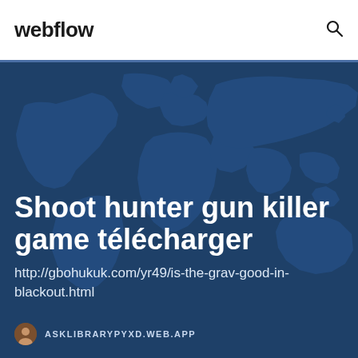webflow
Shoot hunter gun killer game télécharger
http://gbohukuk.com/yr49/is-the-grav-good-in-blackout.html
ASKLIBRARYPYXD.WEB.APP
[Figure (illustration): World map illustration in blue tones used as hero background]